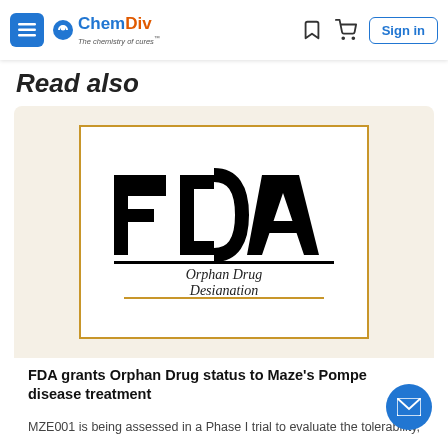ChemDiv – The chemistry of cures
Read also
[Figure (logo): FDA Orphan Drug Designation logo — large bold FDA lettering above the text 'Orphan Drug Designation', inside a gold-bordered white box on a cream background]
FDA grants Orphan Drug status to Maze's Pompe disease treatment
MZE001 is being assessed in a Phase I trial to evaluate the tolerability, safety, pharmacokinetics and pharmacodynamics.